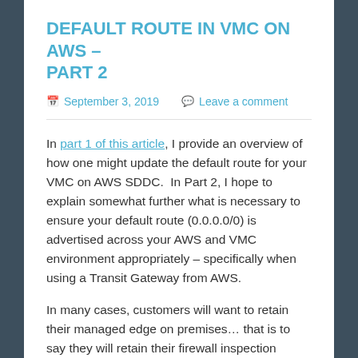DEFAULT ROUTE IN VMC ON AWS – PART 2
September 3, 2019   Leave a comment
In part 1 of this article, I provide an overview of how one might update the default route for your VMC on AWS SDDC.  In Part 2, I hope to explain somewhat further what is necessary to ensure your default route (0.0.0.0/0) is advertised across your AWS and VMC environment appropriately – specifically when using a Transit Gateway from AWS.
In many cases, customers will want to retain their managed edge on premises… that is to say they will retain their firewall inspection